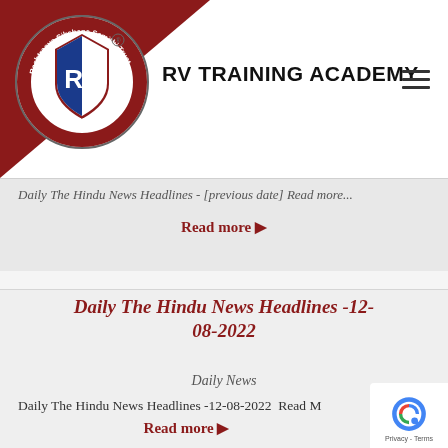[Figure (logo): RV Training Academy logo — circular badge with red/white/blue shield, text 'Rashtreeya Sikshana Samithi Trust', 'RV', 'INSTITUTIONS' on dark red background corner]
RV TRAINING ACADEMY
Daily The Hindu News Headlines - [date] Read more
Daily The Hindu News Headlines -12-08-2022
Daily News
Daily The Hindu News Headlines -12-08-2022  Read M
Read more